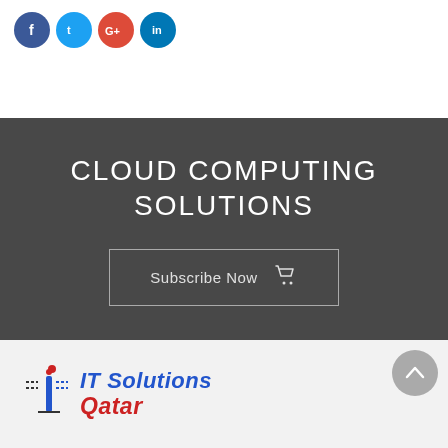[Figure (illustration): Four social media icon circles: Facebook (blue, f), Twitter (light blue, bird/t), Google+ (red, G+), LinkedIn (dark blue, in)]
CLOUD COMPUTING SOLUTIONS
Subscribe Now
[Figure (logo): IT Solutions Qatar logo with stylized 'i' graphic and blue/red text]